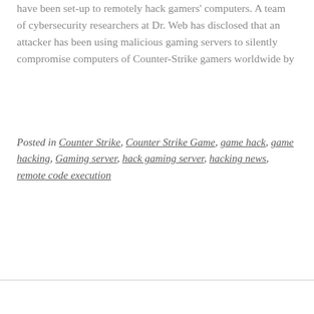have been set-up to remotely hack gamers' computers. A team of cybersecurity researchers at Dr. Web has disclosed that an attacker has been using malicious gaming servers to silently compromise computers of Counter-Strike gamers worldwide by
Posted in Counter Strike, Counter Strike Game, game hack, game hacking, Gaming server, hack gaming server, hacking news, remote code execution
READ MORE